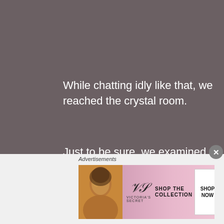While chatting idly like that, we reached the crystal room.
Just to be sure, we examined the whole dungeon through the crystal. After all, there was always the chance that the [Tree] Demon Lord faked his own death and was hiding somewhere.
Yet, after a quick look, we found nothing out
[Figure (screenshot): Victoria's Secret advertisement banner with model photo, VS logo, 'SHOP THE COLLECTION' text, and 'SHOP NOW' button]
Advertisements